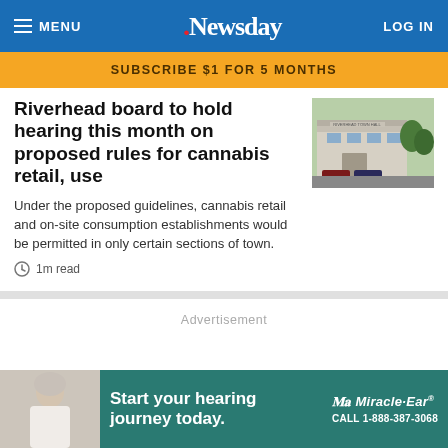MENU | Newsday | LOG IN
SUBSCRIBE $1 FOR 5 MONTHS
Riverhead board to hold hearing this month on proposed rules for cannabis retail, use
[Figure (photo): Photo of Riverhead Town Hall building with parked cars and trees]
Under the proposed guidelines, cannabis retail and on-site consumption establishments would be permitted in only certain sections of town.
1m read
Advertisement
[Figure (photo): Miracle-Ear advertisement banner: woman with grey hair, teal background, text reading 'Start your hearing journey today.' with Miracle-Ear logo and CALL 1-888-387-3068]